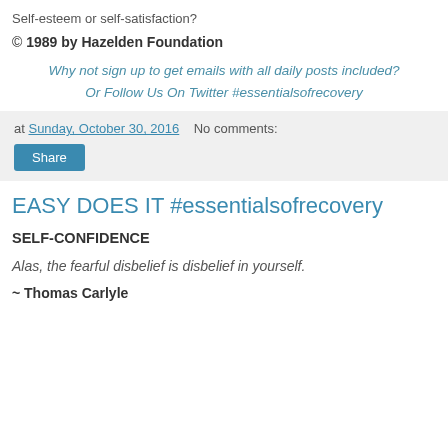Self-esteem or self-satisfaction?
© 1989 by Hazelden Foundation
Why not sign up to get emails with all daily posts included?
Or Follow Us On Twitter #essentialsofrecovery
at Sunday, October 30, 2016   No comments:
Share
EASY DOES IT #essentialsofrecovery
SELF-CONFIDENCE
Alas, the fearful disbelief is disbelief in yourself.
~ Thomas Carlyle